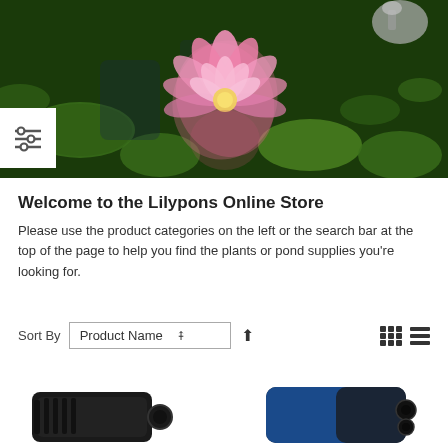[Figure (photo): Pink water lily flower floating on a pond with green lily pads, nature/garden setting.]
Welcome to the Lilypons Online Store
Please use the product categories on the left or the search bar at the top of the page to help you find the plants or pond supplies you're looking for.
Sort By  Product Name  ↑
[Figure (photo): Partial product thumbnails of pond pump devices at the bottom of the page.]